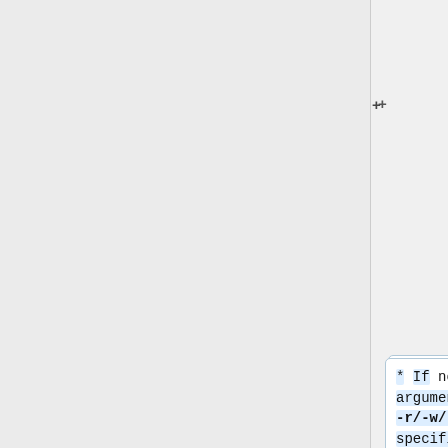will only operate on region-sized files specified in -i arguments.
* If no argument to -r/-w/-v is specified, then files must be specified via -i arguments.
* -r/-w/-v and -i options are non-positional.